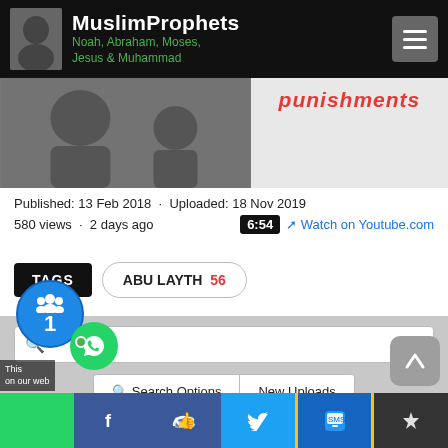MuslimProphets – Noah, Abraham, Moses, Jesus & Muhammad
[Figure (screenshot): Video thumbnail showing 'punishments' text in red on right side]
Published: 13 Feb 2018 · Uploaded: 18 Nov 2019
580 views · 2 days ago
6:54  Watch on Youtube.com
TAGS  ABU LAYTH  56
Search bar
Search Options   New Uploads
Video Description (from Youtube)
This [notification] on our web[site]